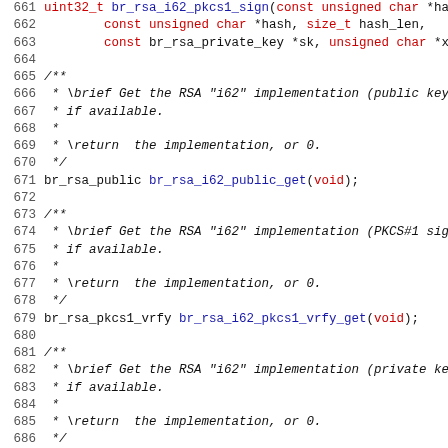Source code listing lines 661-692, C header file with RSA i62 implementation function declarations and doxygen comments.